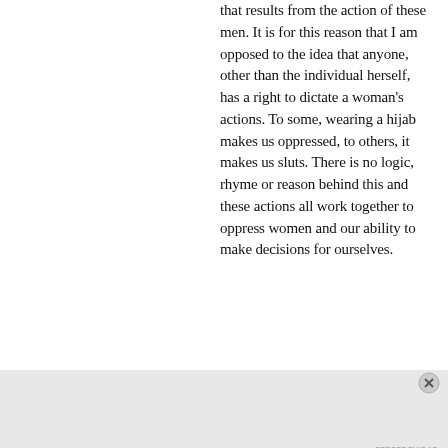that results from the action of these men. It is for this reason that I am opposed to the idea that anyone, other than the individual herself, has a right to dictate a woman's actions. To some, wearing a hijab makes us oppressed, to others, it makes us sluts. There is no logic, rhyme or reason behind this and these actions all work together to oppress women and our ability to make decisions for ourselves.
Advertisements
[Figure (other): Advertisement banner with dark navy background showing text 'Opinions. We all have them!' with WordPress logo and Learn Now button on right side.]